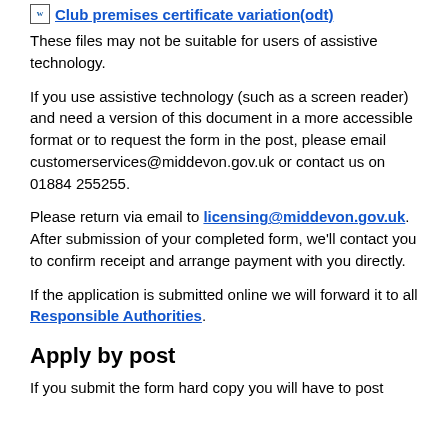Club premises certificate variation(odt)
These files may not be suitable for users of assistive technology.
If you use assistive technology (such as a screen reader) and need a version of this document in a more accessible format or to request the form in the post, please email customerservices@middevon.gov.uk or contact us on 01884 255255.
Please return via email to licensing@middevon.gov.uk. After submission of your completed form, we'll contact you to confirm receipt and arrange payment with you directly.
If the application is submitted online we will forward it to all Responsible Authorities.
Apply by post
If you submit the form hard copy you will have to post